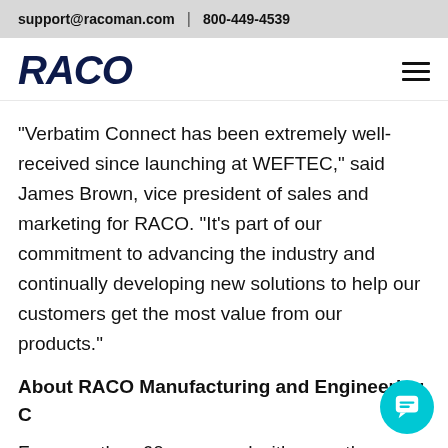support@racoman.com  |  800-449-4539
[Figure (logo): RACO company logo in dark navy bold italic text]
“Verbatim Connect has been extremely well-received since launching at WEFTEC,” said James Brown, vice president of sales and marketing for RACO. “It’s part of our commitment to advancing the industry and continually developing new solutions to help our customers get the most value from our products.”
About RACO Manufacturing and Engineering C
For more than 60 years and with more than